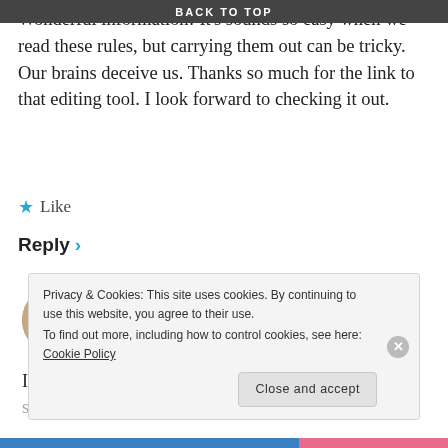BACK TO TOP
Wonderful information! It's sounds so easy when we read these rules, but carrying them out can be tricky. Our brains deceive us. Thanks so much for the link to that editing tool. I look forward to checking it out.
★ Like
Reply ›
Rebecca Belliston says:
03/05/13 at 1:24 pm
I know. I've heard these things before, but making it stick, making it a habit is the hard part.
Privacy & Cookies: This site uses cookies. By continuing to use this website, you agree to their use.
To find out more, including how to control cookies, see here: Cookie Policy
Close and accept